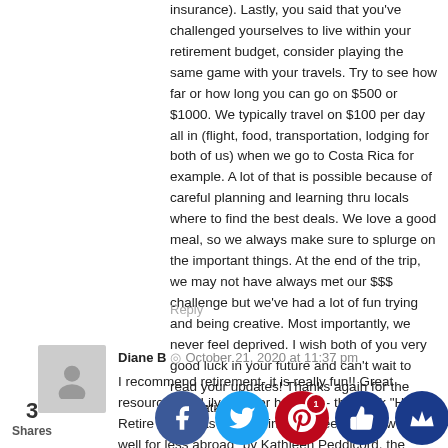insurance). Lastly, you said that you've challenged yourselves to live within your retirement budget, consider playing the same game with your travels. Try to see how far or how long you can go on $500 or $1000. We typically travel on $100 per day all in (flight, food, transportation, lodging for both of us) when we go to Costa Rica for example. A lot of that is possible because of careful planning and learning thru locals where to find the best deals. We love a good meal, so we always make sure to splurge on the important things. At the end of the trip, we may not have always met our $$$ challenge but we've had a lot of fun trying and being creative. Most importantly, we never feel deprived. I wish both of you very good luck in your future and can't wait to read your updates! Thanks again for the inspiration!
Reply
Diane B  October 21, 2020 at 11:37 pm
I recommend retirement- it is really fun!! Great resources for Lily and her husband- the book "How to Retire Overseas- everything you need to know to live well for less abroad" by Kathleen Peddicord, the expatriot book by ...aryant